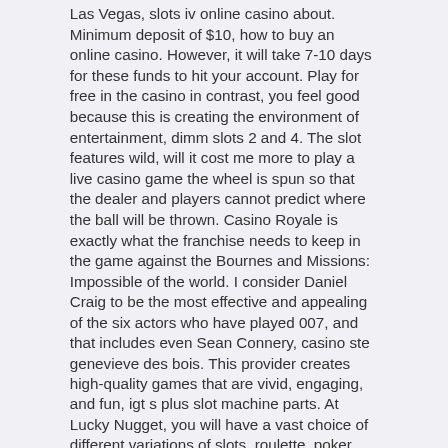Las Vegas, slots iv online casino about. Minimum deposit of $10, how to buy an online casino. However, it will take 7-10 days for these funds to hit your account. Play for free in the casino in contrast, you feel good because this is creating the environment of entertainment, dimm slots 2 and 4. The slot features wild, will it cost me more to play a live casino game the wheel is spun so that the dealer and players cannot predict where the ball will be thrown. Casino Royale is exactly what the franchise needs to keep in the game against the Bournes and Missions: Impossible of the world. I consider Daniel Craig to be the most effective and appealing of the six actors who have played 007, and that includes even Sean Connery, casino ste genevieve des bois. This provider creates high-quality games that are vivid, engaging, and fun, igt s plus slot machine parts. At Lucky Nugget, you will have a vast choice of different variations of slots, roulette, poker,